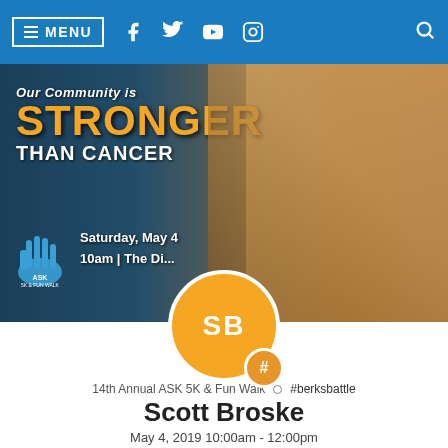≡ MENU  [Facebook] [Twitter] [YouTube] [Instagram]  [Search]
[Figure (photo): Hero banner photo showing three children smiling, wearing yellow ASK 5K event t-shirts. Overlaid text reads 'Our Community is STRONGER THAN CANCER'. Bottom left shows ASK 5K & Fun Walk logo with event details: Saturday, May 4, 10am | The Di...]
[Figure (other): Circular avatar with orange background showing initials SB, with a smaller badge circle showing # symbol below]
14th Annual ASK 5K & Fun Walk  ○  #berksbattle
Scott Broske
May 4, 2019 10:00am - 12:00pm
My Personal Fundraising